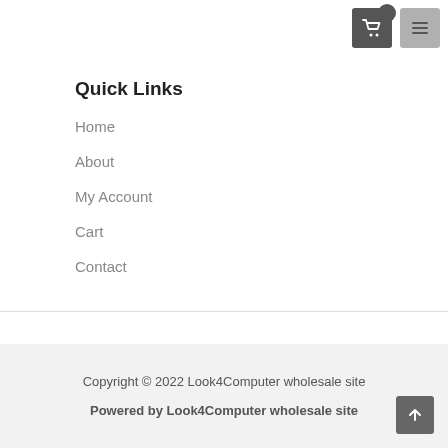Cart button with badge 0, Menu button
Quick Links
Home
About
My Account
Cart
Contact
Copyright © 2022 Look4Computer wholesale site
Powered by Look4Computer wholesale site